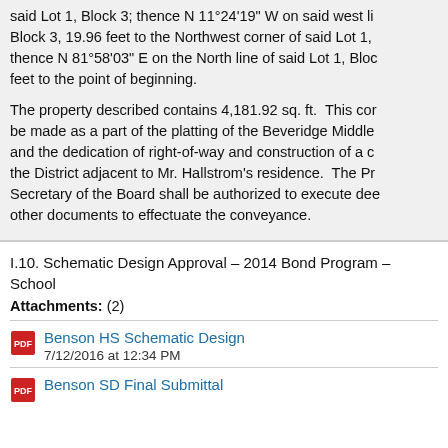said Lot 1, Block 3; thence N 11°24'19" W on said west line of Block 3, 19.96 feet to the Northwest corner of said Lot 1, thence N 81°58'03" E on the North line of said Lot 1, Block feet to the point of beginning.
The property described contains 4,181.92 sq. ft.  This conveyance shall be made as a part of the platting of the Beveridge Middle School and the dedication of right-of-way and construction of a cul-de-sac by the District adjacent to Mr. Hallstrom's residence.  The President and Secretary of the Board shall be authorized to execute deeds and other documents to effectuate the conveyance.
I.10. Schematic Design Approval – 2014 Bond Program – School
Attachments: (2)
Benson HS Schematic Design
7/12/2016 at 12:34 PM
Benson SD Final Submittal